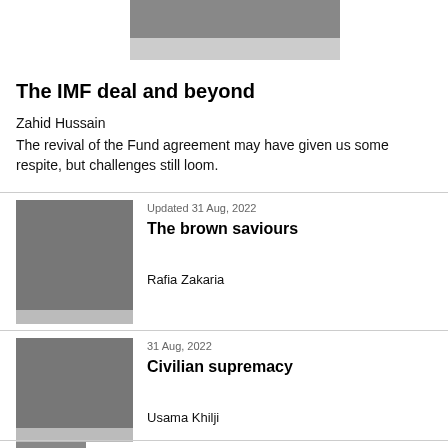[Figure (photo): Partial black and white photo at the top of the page with a gray caption bar below]
The IMF deal and beyond
Zahid Hussain
The revival of the Fund agreement may have given us some respite, but challenges still loom.
[Figure (photo): Black and white portrait photo of a woman (Rafia Zakaria) with gray bar below]
Updated 31 Aug, 2022
The brown saviours
Rafia Zakaria
[Figure (photo): Black and white portrait photo of a man (Usama Khilji) with gray bar below]
31 Aug, 2022
Civilian supremacy
Usama Khilji
[Figure (photo): Partial black and white portrait photo at the bottom of the page]